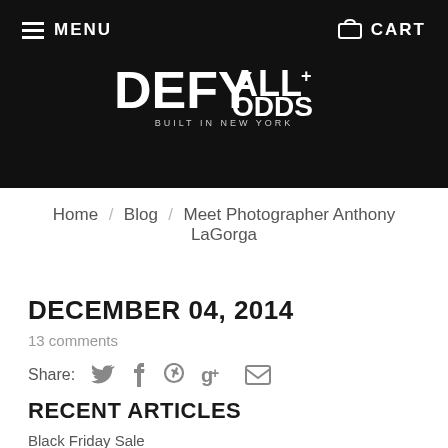MENU  CART  DEFY ALL ODDS — BUILT IN NEW YORK
Home / Blog / Meet Photographer Anthony LaGorga
DECEMBER 04, 2014
13 comments
Share: [Twitter] [Facebook] [Pinterest] [Google+] [Email]
RECENT ARTICLES
Black Friday Sale